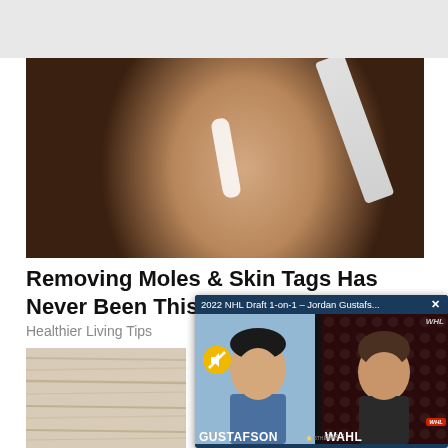[Figure (photo): Close-up photo of a woman applying white cream to her nose area with a toothbrush. Woman has dark hair and is shown from nose down. White cream is visible on her nose.]
Removing Moles & Skin Tags Has Never Been This Easy
Healthier Living Tips
[Figure (screenshot): Video popup overlay showing '2022 NHL Draft 1-on-1 – Jordan Gustafs...' with a close button. Shows two people in a split-screen video - Jordan Gustafson on the left and Chris Wahl on the right. WHL Draft branding visible. Yellow mute button visible. Both names shown in large white text at bottom of respective panels.]
[Figure (photo): Partial photo at bottom left showing wood grain texture or skin texture, beige/tan tones.]